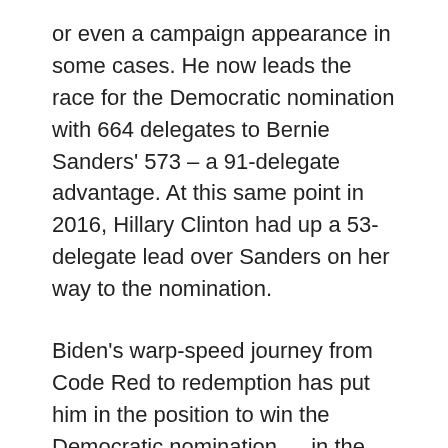or even a campaign appearance in some cases. He now leads the race for the Democratic nomination with 664 delegates to Bernie Sanders' 573 – a 91-delegate advantage. At this same point in 2016, Hillary Clinton had up a 53-delegate lead over Sanders on her way to the nomination.
Biden's warp-speed journey from Code Red to redemption has put him in the position to win the Democratic nomination … in the span of 12 days. I have expressed serious reservations about Biden's ability as a candidate and his chance to become the nominee. That hasn't changed. But,